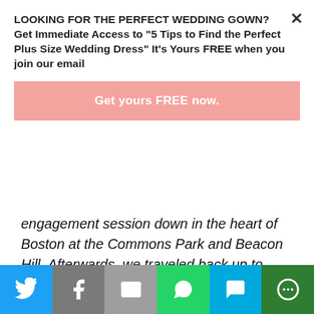LOOKING FOR THE PERFECT WEDDING GOWN? Get Immediate Access to "5 Tips to Find the Perfect Plus Size Wedding Dress" It's Yours FREE when you join our email
Get yours FREE now.
engagement session down in the heart of Boston at the Commons Park and Beacon Hill. Afterwards, we traveled back up to New Hampshire to a small town called Lee, and went back to the very farm that Devin had proposed at! I absolutely cannot wait to see their wedding plans unfold!
[Figure (infographic): Social share bar with Twitter, Facebook, Email, WhatsApp, SMS, and More buttons]